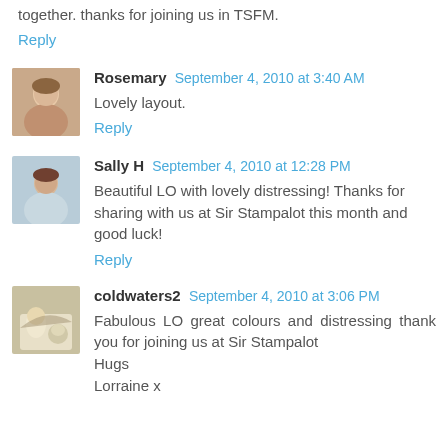together. thanks for joining us in TSFM.
Reply
Rosemary September 4, 2010 at 3:40 AM
Lovely layout.
Reply
Sally H September 4, 2010 at 12:28 PM
Beautiful LO with lovely distressing! Thanks for sharing with us at Sir Stampalot this month and good luck!
Reply
coldwaters2 September 4, 2010 at 3:06 PM
Fabulous LO great colours and distressing thank you for joining us at Sir Stampalot
Hugs
Lorraine x